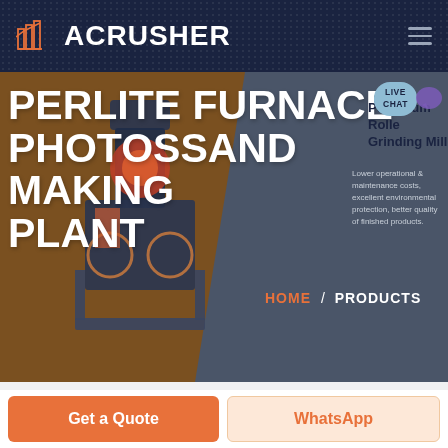ACRUSHER
PERLITE FURNACE PHOTOSSAND MAKING PLANT
Pendulum Roller Grinding Mill
Lower operational & maintenance costs, excellent environmental protection, better quality of finished products.
HOME / PRODUCTS
Get a Quote
WhatsApp